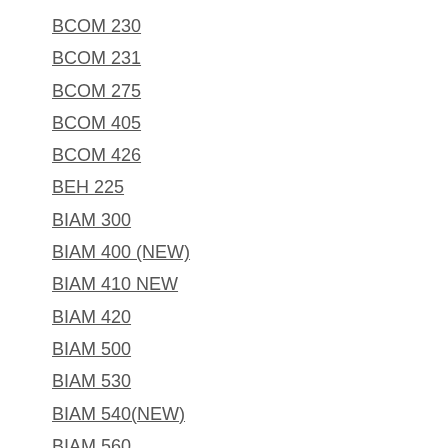BCOM 230
BCOM 231
BCOM 275
BCOM 405
BCOM 426
BEH 225
BIAM 300
BIAM 400 (NEW)
BIAM 410 NEW
BIAM 420
BIAM 500
BIAM 530
BIAM 540(NEW)
BIAM 560
BIO 100
BIO 101
BIO 101 (NEW)
BIO 204
BIO 240 (NEW)